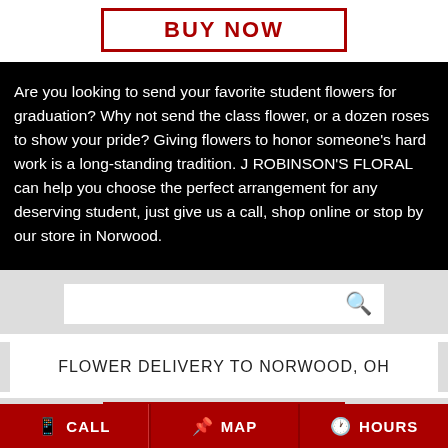BUY NOW
Are you looking to send your favorite student flowers for graduation? Why not send the class flower, or a dozen roses to show your pride? Giving flowers to honor someone's hard work is a long-standing tradition. J ROBINSON'S FLORAL can help you choose the perfect arrangement for any deserving student, just give us a call, shop online or stop by our store in Norwood.
FLOWER DELIVERY TO NORWOOD, OH
SEE DELIVERY AREAS
CALL
MAP
HOURS